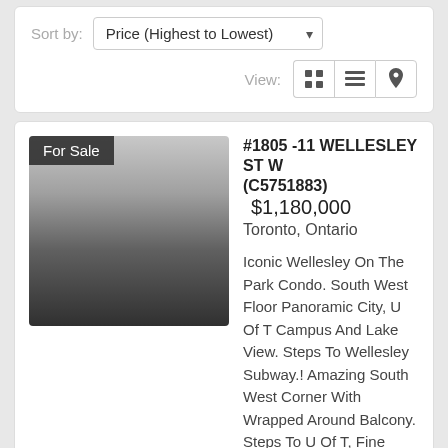Sort by: Price (Highest to Lowest)
[Figure (screenshot): View toggle buttons: grid view, list view, map/pin view]
[Figure (photo): Black and white interior photo of a condo bedroom with floor-to-ceiling windows and city view, labeled 'For Sale']
#1805 -11 WELLESLEY ST W (C5751883)  $1,180,000
Toronto, Ontario

Iconic Wellesley On The Park Condo. South West Floor Panoramic City, U Of T Campus And Lake View. Steps To Wellesley Subway.! Amazing South West Corner With Wrapped Around Balcony. Steps To U Of T, Fine Dining, Shopping And Yonge Street Life. 1 Parking And Locker. Floor To Ceiling Window…
BAY STREET GROUP INC.